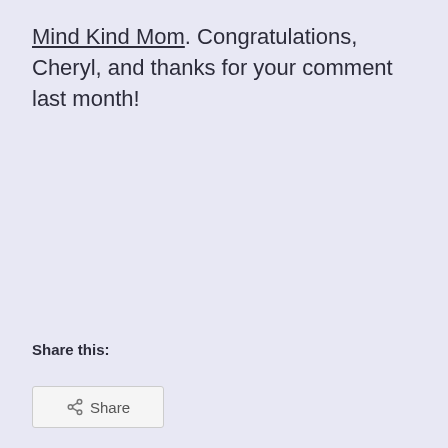Mind Kind Mom. Congratulations, Cheryl, and thanks for your comment last month!
Share this: